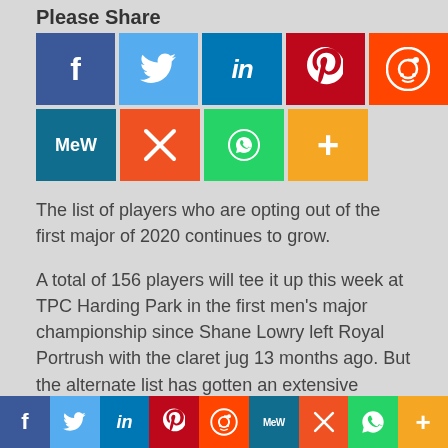Please Share
[Figure (infographic): Social share buttons grid: row 1 - Facebook, Twitter, LinkedIn, Pinterest, Reddit; row 2 - MeWe, Mix, WhatsApp, Plus]
The list of players who are opting out of the first major of 2020 continues to grow.
A total of 156 players will tee it up this week at TPC Harding Park in the first men's major championship since Shane Lowry left Royal Portrush with the claret jug 13 months ago. But the alternate list has gotten an extensive workout to keep the field full, with more than a dozen
[Figure (infographic): Bottom social share bar: Facebook, Twitter, LinkedIn, Pinterest, Reddit, MeWe, Mix, WhatsApp, Plus]